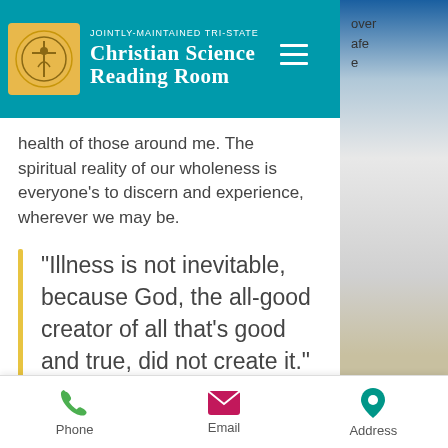JOINTLY-MAINTAINED TRI-STATE CHRISTIAN SCIENCE READING ROOM
health of those around me. The spiritual reality of our wholeness is everyone's to discern and experience, wherever we may be.
"Illness is not inevitable, because God, the all-good creator of all that's good and true, did not create it."
While my friend and I don't often talk
Phone  Email  Address